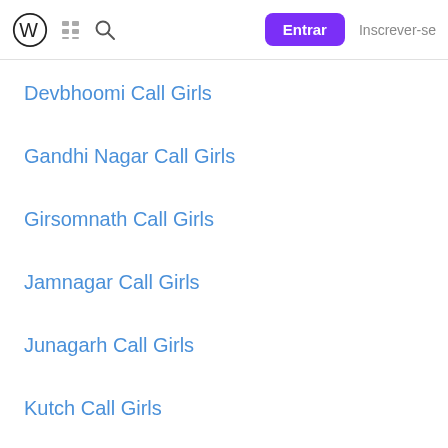W | [grid icon] [search icon] | Entrar | Inscrever-se
Devbhoomi Call Girls
Gandhi Nagar Call Girls
Girsomnath Call Girls
Jamnagar Call Girls
Junagarh Call Girls
Kutch Call Girls